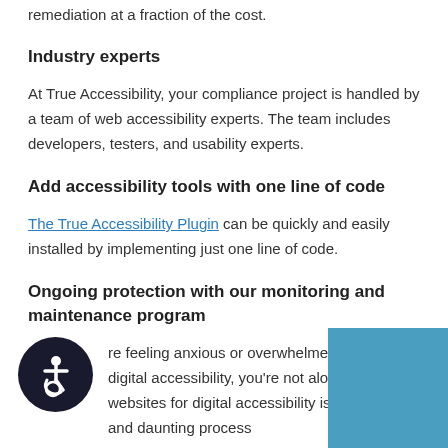remediation at a fraction of the cost.
Industry experts
At True Accessibility, your compliance project is handled by a team of web accessibility experts. The team includes developers, testers, and usability experts.
Add accessibility tools with one line of code
The True Accessibility Plugin can be quickly and easily installed by implementing just one line of code.
Ongoing protection with our monitoring and maintenance program
If you're feeling anxious or overwhelmed about digital accessibility, you're not alone. Updating websites for digital accessibility is a complex and daunting process